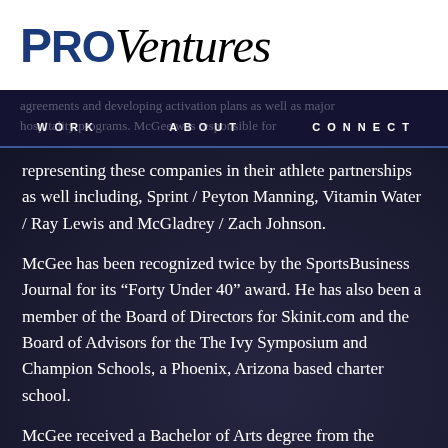[Figure (logo): ProVentures logo with PRO in bold dark blue and Ventures in italic black serif]
WORK   ABOUT   CONNECT
representing these companies in their athlete partnerships as well including, Sprint / Peyton Manning, Vitamin Water / Ray Lewis and McGladrey / Zach Johnson.
McGee has been recognized twice by the SportsBusiness Journal for its “Forty Under 40” award. He has also been a member of the Board of Directors for Skinit.com and the Board of Advisors for the The Ivy Symposium and Champion Schools, a Phoenix, Arizona based charter school.
McGee received a Bachelor of Arts degree from the University of Kentucky where he was also an All-Southeastern Conference selection on the tennis team. He currently resides in Arlington, Virginia.